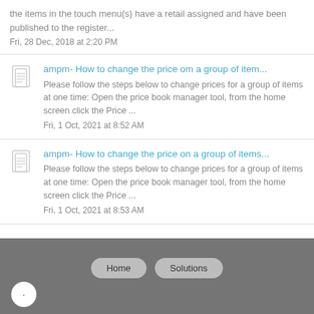the items in the touch menu(s) have a retail assigned and have been published to the register...
Fri, 28 Dec, 2018 at 2:20 PM
ampm- How to change the price om a group of item...
Please follow the steps below to change prices for a group of items at one time: Open the price book manager tool, from the home screen click the Price ...
Fri, 1 Oct, 2021 at 8:52 AM
ampm- How to change the price on a group of items...
Please follow the steps below to change prices for a group of items at one time: Open the price book manager tool, from the home screen click the Price ...
Fri, 1 Oct, 2021 at 8:53 AM
Home   Solutions